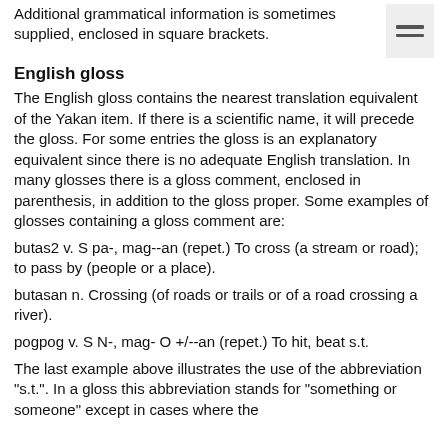Additional grammatical information is sometimes supplied, enclosed in square brackets.
English gloss
The English gloss contains the nearest translation equivalent of the Yakan item. If there is a scientific name, it will precede the gloss. For some entries the gloss is an explanatory equivalent since there is no adequate English translation. In many glosses there is a gloss comment, enclosed in parenthesis, in addition to the gloss proper. Some examples of glosses containing a gloss comment are:
butas2 v. S pa-, mag--an (repet.) To cross (a stream or road); to pass by (people or a place).
butasan n. Crossing (of roads or trails or of a road crossing a river).
pogpog v. S N-, mag- O +/--an (repet.) To hit, beat s.t.
The last example above illustrates the use of the abbreviation "s.t.". In a gloss this abbreviation stands for "something or someone" except in cases where the